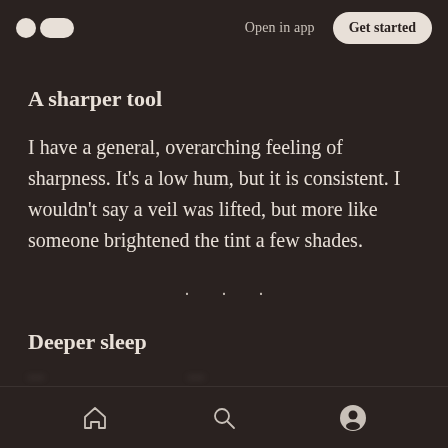Medium logo | Open in app | Get started
A sharper tool
I have a general, overarching feeling of sharpness. It's a low hum, but it is consistent. I wouldn't say a veil was lifted, but more like someone brightened the tint a few shades.
· · ·
Deeper sleep
Home | Search | Profile